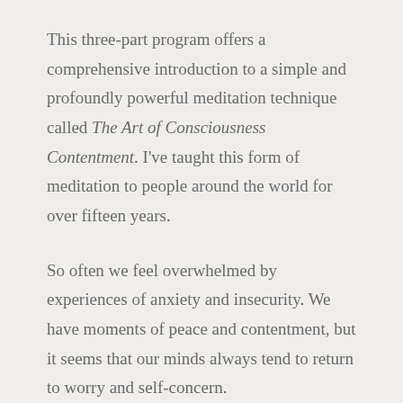This three-part program offers a comprehensive introduction to a simple and profoundly powerful meditation technique called The Art of Consciousness Contentment. I've taught this form of meditation to people around the world for over fifteen years.
So often we feel overwhelmed by experiences of anxiety and insecurity. We have moments of peace and contentment, but it seems that our minds always tend to return to worry and self-concern.
In this program you will learn how our experience of anxiety can be dramatically reduced through the practice of meditation, but much more importantly you will discover that the true secret to lasting inner peace